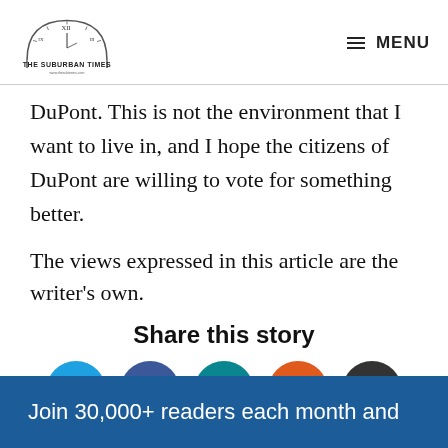The Suburban Times — MENU
DuPont. This is not the environment that I want to live in, and I hope the citizens of DuPont are willing to vote for something better.
The views expressed in this article are the writer's own.
Share this story
[Figure (infographic): Social share icon buttons: Twitter (blue), Facebook (dark blue), LinkedIn (teal), Reddit (orange), Email (dark gray)]
Join 30,000+ readers each month and